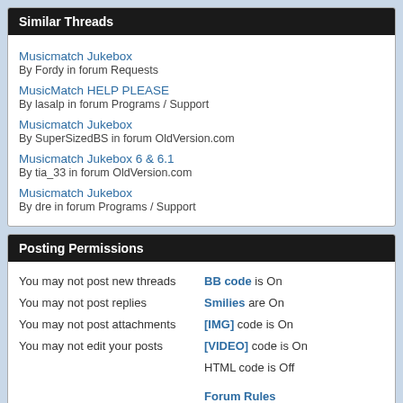Similar Threads
Musicmatch Jukebox
By Fordy in forum Requests
MusicMatch HELP PLEASE
By lasalp in forum Programs / Support
Musicmatch Jukebox
By SuperSizedBS in forum OldVersion.com
Musicmatch Jukebox 6 & 6.1
By tia_33 in forum OldVersion.com
Musicmatch Jukebox
By dre in forum Programs / Support
Posting Permissions
You may not post new threads
You may not post replies
You may not post attachments
You may not edit your posts
BB code is On
Smilies are On
[IMG] code is On
[VIDEO] code is On
HTML code is Off

Forum Rules